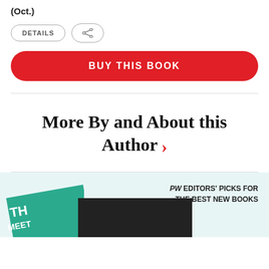(Oct.)
[Figure (screenshot): Two rounded rectangle buttons: 'DETAILS' and a share icon button]
BUY THIS BOOK
More By and About this Author >
[Figure (illustration): PW Editors' Picks banner with teal badge showing 'THE BEST NEW BOOKS' text and a dark overlay graphic on a light blue background. Text reads: PW EDITORS' PICKS FOR THE BEST NEW BOOKS]